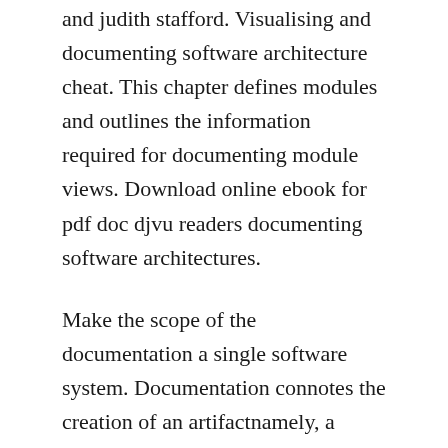and judith stafford. Visualising and documenting software architecture cheat. This chapter defines modules and outlines the information required for documenting module views. Download online ebook for pdf doc djvu readers documenting software architectures.
Make the scope of the documentation a single software system. Documentation connotes the creation of an artifactnamely, a document. Views and beyond, 2nd edition begins with short overviews of software architecture and